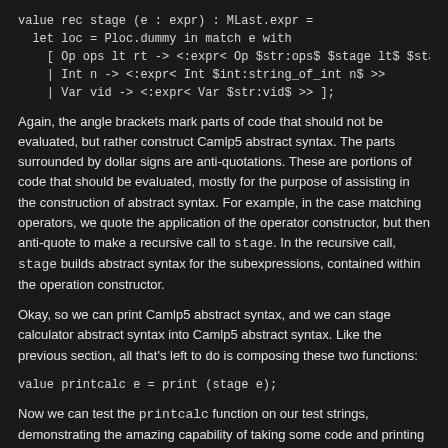value rec stage (e : expr) : MLast.expr =
  let loc = Ploc.dummy in match e with
    [ Op ops lt rt -> <:expr< Op $str:ops$ $stage lt$ $stage
    | Int n -> <:expr< Int $int:string_of_int n$ >>
    | Var vid -> <:expr< Var $str:vid$ >> ];
Again, the angle brackets mark parts of code that should not be evaluated, but rather construct Camlp5 abstract syntax. The parts surrounded by dollar signs are anti-quotations. These are portions of code that should be evaluated, mostly for the purpose of assisting in the construction of abstract syntax. For example, in the case matching operators, we quote the application of the operator constructor, but then anti-quote to make a recursive call to stage. In the recursive call, stage builds abstract syntax for the subexpressions, contained within the operation constructor.
Okay, so we can print Camlp5 abstract syntax, and we can stage calculator abstract syntax into Camlp5 abstract syntax. Like the previous section, all that's left to do is composing these two functions:
value printcalc e = print (stage e);
Now we can test the printcalc function on our test strings, demonstrating the amazing capability of taking some code and printing a string that is equivalent under some evaluation and staging regime: